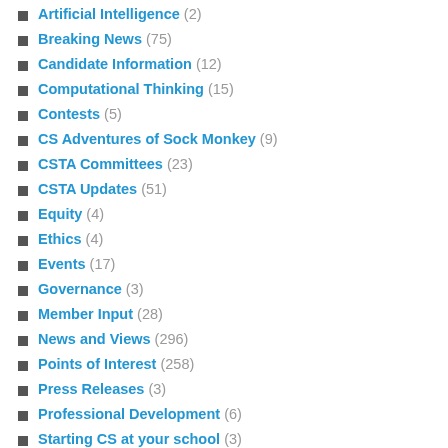Artificial Intelligence (2)
Breaking News (75)
Candidate Information (12)
Computational Thinking (15)
Contests (5)
CS Adventures of Sock Monkey (9)
CSTA Committees (23)
CSTA Updates (51)
Equity (4)
Ethics (4)
Events (17)
Governance (3)
Member Input (28)
News and Views (296)
Points of Interest (258)
Press Releases (3)
Professional Development (6)
Starting CS at your school (3)
Teaching Methods (56)
Tips & Tricks (58)
Uncategorized (167)
Welcome (4)